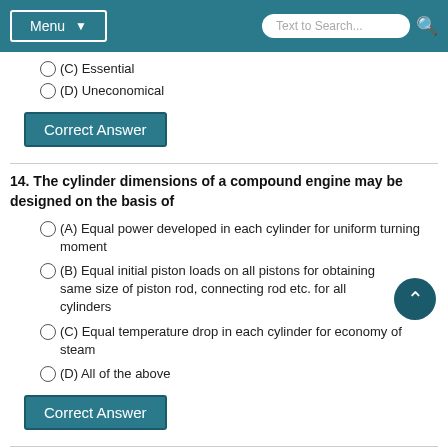Menu | Text to Search...
(C) Essential
(D) Uneconomical
Correct Answer
14. The cylinder dimensions of a compound engine may be designed on the basis of
(A) Equal power developed in each cylinder for uniform turning moment
(B) Equal initial piston loads on all pistons for obtaining same size of piston rod, connecting rod etc. for all cylinders
(C) Equal temperature drop in each cylinder for economy of steam
(D) All of the above
Correct Answer
15. One kilowatt-hour energy is equivalent to